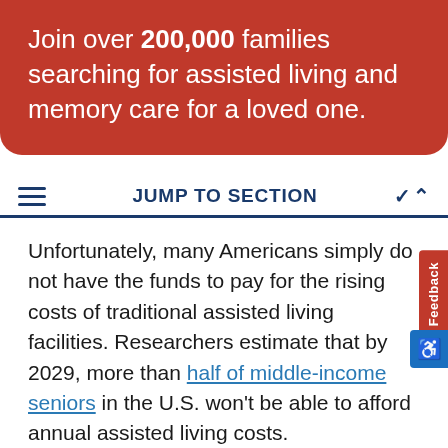Join over 200,000 families searching for assisted living and memory care for a loved one.
JUMP TO SECTION
Unfortunately, many Americans simply do not have the funds to pay for the rising costs of traditional assisted living facilities. Researchers estimate that by 2029, more than half of middle-income seniors in the U.S. won't be able to afford annual assisted living costs.